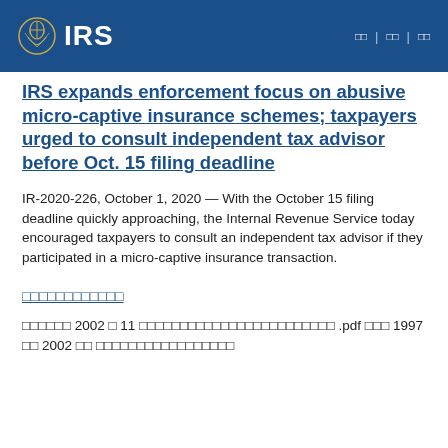IRS | 00 | 00 | 00
IRS expands enforcement focus on abusive micro-captive insurance schemes; taxpayers urged to consult independent tax advisor before Oct. 15 filing deadline
IR-2020-226, October 1, 2020 — With the October 15 filing deadline quickly approaching, the Internal Revenue Service today encouraged taxpayers to consult an independent tax advisor if they participated in a micro-captive insurance transaction.
□□□□□□□□□□□□
□□□□□□ 2002 □ 11 □□□□□□□□□□□□□□□□□□□□□□□□ .pdf □□□ 1997 □□ 2002 □□ □□□□□□□□□□□□□□□□□